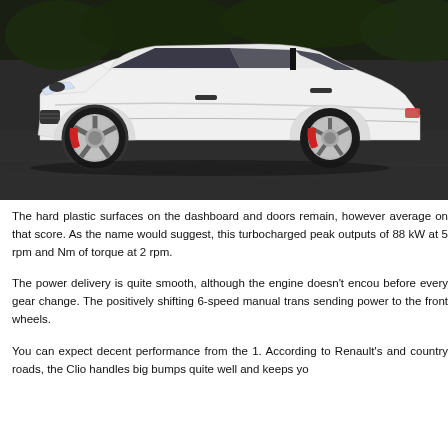[Figure (photo): Side profile photo of a white Renault Clio RS hatchback with black alloy wheels with red brake calipers, parked on a dark asphalt surface with trees in the background.]
The hard plastic surfaces on the dashboard and doors remain, however average on that score. As the name would suggest, this turbocharged peak outputs of 88 kW at 5 rpm and Nm of torque at 2 rpm.
The power delivery is quite smooth, although the engine doesn't encou before every gear change. The positively shifting 6-speed manual trans sending power to the front wheels.
You can expect decent performance from the 1. According to Renault's and country roads, the Clio handles big bumps quite well and keeps yo